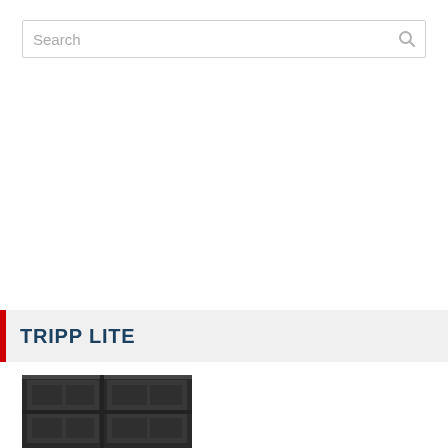[Figure (screenshot): Search bar input field with placeholder text 'Search' and a magnifying glass icon on the right]
TRIPP LITE
[Figure (photo): Partial photo of a Tripp Lite server rack enclosure, showing dark metal cabinet with ventilation panels]